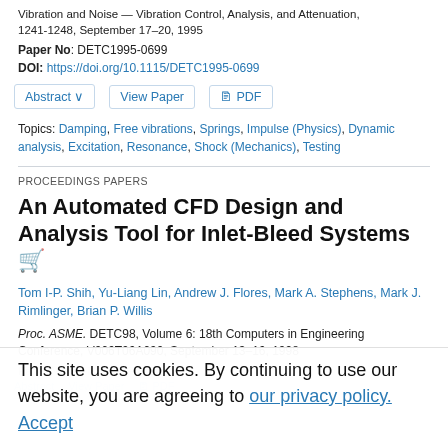Vibration and Noise — Vibration Control, Analysis, and Attenuation, 1241-1248, September 17–20, 1995
Paper No: DETC1995-0699
DOI: https://doi.org/10.1115/DETC1995-0699
Abstract ∨   View Paper   🖹 PDF
Topics: Damping, Free vibrations, Springs, Impulse (Physics), Dynamic analysis, Excitation, Resonance, Shock (Mechanics), Testing
PROCEEDINGS PAPERS
An Automated CFD Design and Analysis Tool for Inlet-Bleed Systems
Tom I-P. Shih, Yu-Liang Lin, Andrew J. Flores, Mark A. Stephens, Mark J. Rimlinger, Brian P. Willis
Proc. ASME. DETC98, Volume 6: 18th Computers in Engineering Conference, V006T06A090, September 13–16, 1998
Paper No: DETC98/CIE-6033
This site uses cookies. By continuing to use our website, you are agreeing to our privacy policy. Accept